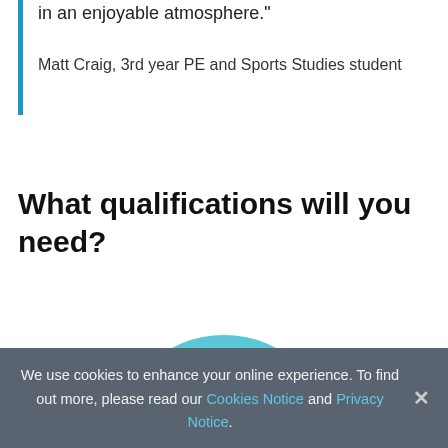in an enjoyable atmosphere."

Matt Craig, 3rd year PE and Sports Studies student
What qualifications will you need?
[Figure (infographic): Light blue circle with the number 104 displayed prominently in large text]
We use cookies to enhance your online experience. To find out more, please read our Cookies Notice and Privacy Notice.